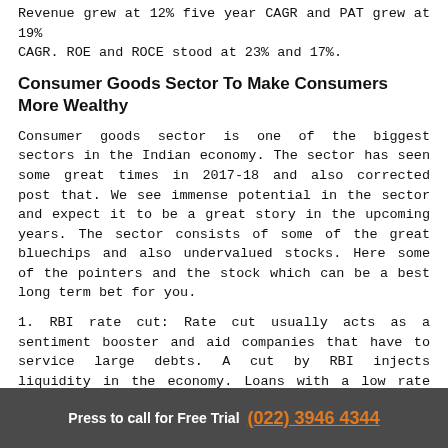Revenue grew at 12% five year CAGR and PAT grew at 19% CAGR. ROE and ROCE stood at 23% and 17%.
Consumer Goods Sector To Make Consumers More Wealthy
Consumer goods sector is one of the biggest sectors in the Indian economy. The sector has seen some great times in 2017-18 and also corrected post that. We see immense potential in the sector and expect it to be a great story in the upcoming years. The sector consists of some of the great bluechips and also undervalued stocks. Here some of the pointers and the stock which can be a best long term bet for you.
1. RBI rate cut: Rate cut usually acts as a sentiment booster and aid companies that have to service large debts. A cut by RBI injects liquidity in the economy. Loans with a low rate lead to an increase in buying interests in the consumer-driven economy which will help India Inc. to deliver strong earnings growth.
Press to call for Free Trial (022) 3946 4344